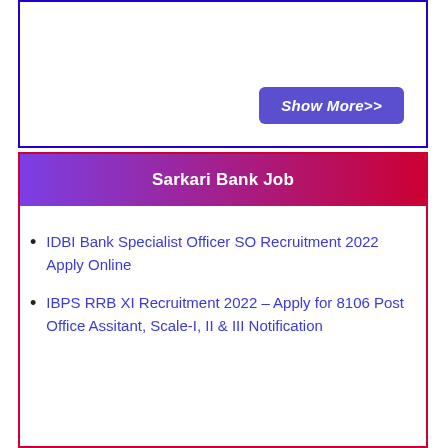Show More>>
Sarkari Bank Job
IDBI Bank Specialist Officer SO Recruitment 2022 Apply Online
IBPS RRB XI Recruitment 2022 – Apply for 8106 Post Office Assitant, Scale-I, II & III Notification